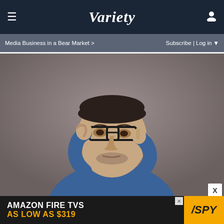VARIETY — Media Business in a Bear Market > | Subscribe | Log in
[Figure (photo): Man in denim shirt adjusting thick-framed black glasses with one hand, pointing near his eye with the other hand, against a gray-brown studio background]
[Figure (infographic): Amazon Fire TVs advertisement banner — AMAZON FIRE TVS AS LOW AS $319 with SPY logo in yellow on black background]